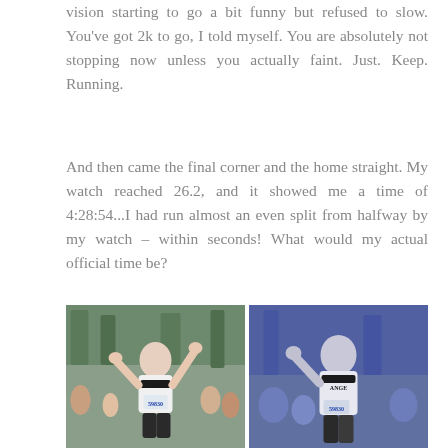vision starting to go a bit funny but refused to slow. You've got 2k to go, I told myself. You are absolutely not stopping now unless you actually faint. Just. Keep. Running.
And then came the final corner and the home straight. My watch reached 26.2, and it showed me a time of 4:28:54...I had run almost an even split from halfway by my watch – within seconds! What would my actual official time be?
[Figure (photo): Two side-by-side race finish photos of a female runner wearing a white tank top with 'ANGE' text and bib number 59830, arms raised in celebration at a marathon finish]